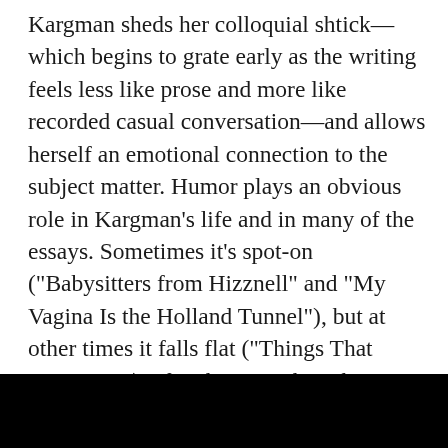Kargman sheds her colloquial shtick—which begins to grate early as the writing feels less like prose and more like recorded casual conversation—and allows herself an emotional connection to the subject matter. Humor plays an obvious role in Kargman's life and in many of the essays. Sometimes it's spot-on ("Babysitters from Hizznell" and "My Vagina Is the Holland Tunnel"), but at other times it falls flat ("Things That Haunt Me"), often because the subject matter simply isn't anything readers haven't seen before. When she uses humor to serve a larger purpose—such as in "Tumor Humor," when she recounts her diagnosis at age 35 with a rare form of skin cancer and the ensuing surgery to remove the tumor—or even to highlight the wackier moments of mo[REDACTED]e strugg[REDACTED]out a